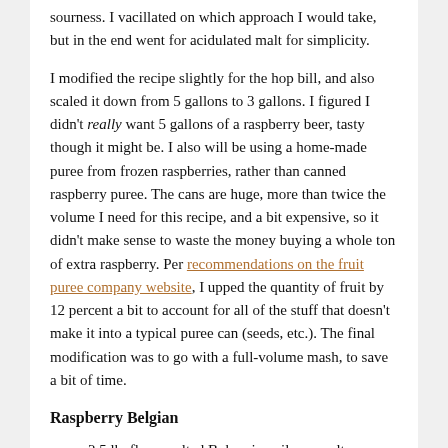sourness. I vacillated on which approach I would take, but in the end went for acidulated malt for simplicity.
I modified the recipe slightly for the hop bill, and also scaled it down from 5 gallons to 3 gallons. I figured I didn't really want 5 gallons of a raspberry beer, tasty though it might be. I also will be using a home-made puree from frozen raspberries, rather than canned raspberry puree. The cans are huge, more than twice the volume I need for this recipe, and a bit expensive, so it didn't make sense to waste the money buying a whole ton of extra raspberry. Per recommendations on the fruit puree company website, I upped the quantity of fruit by 12 percent a bit to account for all of the stuff that doesn't make it into a typical puree can (seeds, etc.). The final modification was to go with a full-volume mash, to save a bit of time.
Raspberry Belgian
2.5 lb. floor-malted Bohemian pilsner malt (Weyermann)